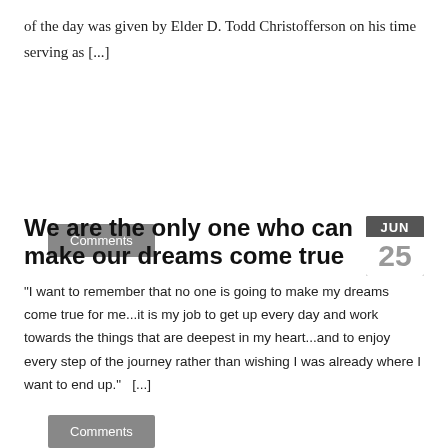of the day was given by Elder D. Todd Christofferson on his time serving as [...]
Comments
We are the only one who can make our dreams come true
“I want to remember that no one is going to make my dreams come true for me...it is my job to get up every day and work towards the things that are deepest in my heart...and to enjoy every step of the journey rather than wishing I was already where I want to end up.”  [...]
Comments